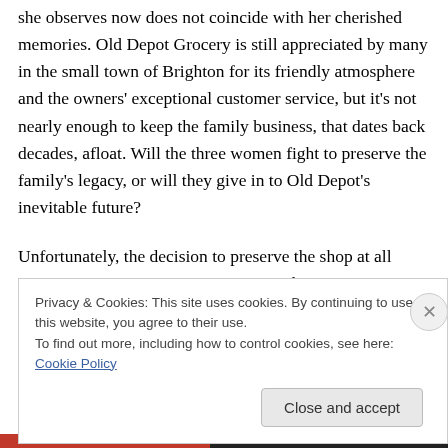she observes now does not coincide with her cherished memories. Old Depot Grocery is still appreciated by many in the small town of Brighton for its friendly atmosphere and the owners' exceptional customer service, but it's not nearly enough to keep the family business, that dates back decades, afloat. Will the three women fight to preserve the family's legacy, or will they give in to Old Depot's inevitable future?
Unfortunately, the decision to preserve the shop at all costs is not a unanimous one amongst the women.
Privacy & Cookies: This site uses cookies. By continuing to use this website, you agree to their use.
To find out more, including how to control cookies, see here: Cookie Policy